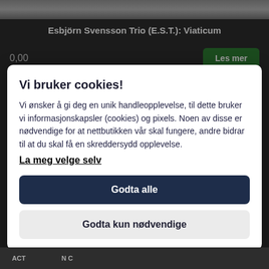[Figure (screenshot): Product listing background showing album art thumbnail (greyscale photo) for Esbjörn Svensson Trio album]
Esbjörn Svensson Trio (E.S.T.): Viaticum
0,00
Les mer
The ACT Company - Audiophile Recording - Dobbel (2) 180g LP
Vi bruker cookies!
Vi ønsker å gi deg en unik handleopplevelse, til dette bruker vi informasjonskapsler (cookies) og pixels. Noen av disse er nødvendige for at nettbutikken vår skal fungere, andre bidrar til at du skal få en skreddersydd opplevelse.
La meg velge selv
Godta alle
Godta kun nødvendige